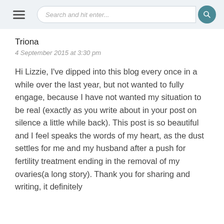Search and hit enter...
Triona
4 September 2015 at 3:30 pm
Hi Lizzie, I've dipped into this blog every once in a while over the last year, but not wanted to fully engage, because I have not wanted my situation to be real (exactly as you write about in your post on silence a little while back). This post is so beautiful and I feel speaks the words of my heart, as the dust settles for me and my husband after a push for fertility treatment ending in the removal of my ovaries(a long story). Thank you for sharing and writing, it definitely